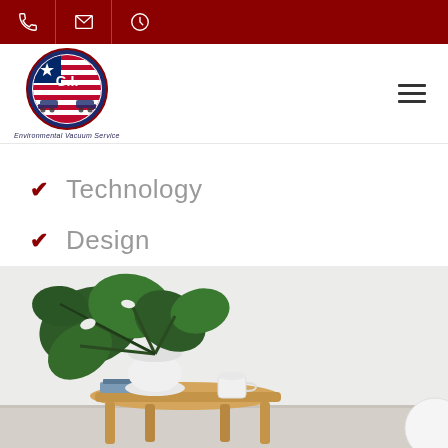Top navigation bar with phone, email, and clock icons
[Figure (logo): G.I. Environmental Vacuum Service circular logo with American flag motif and vacuum trucks]
Technology
Design
[Figure (photo): Interior room photo showing a small wooden coffee table with a potted monstera plant in a white vase, a white mug, and books, against a light grey wall]